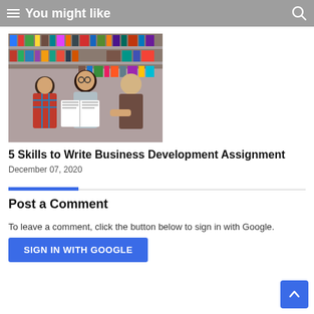You might like
[Figure (photo): Three students studying together in a library, looking at an open book. Bookshelves in the background.]
5 Skills to Write Business Development Assignment
December 07, 2020
Post a Comment
To leave a comment, click the button below to sign in with Google.
SIGN IN WITH GOOGLE